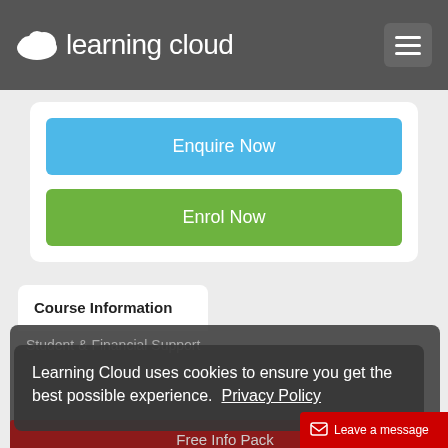learning cloud
Enquire Now
Enrol Now
Course Information
Student & Financial Support
Learning Cloud uses cookies to ensure you get the best possible experience.  Privacy Policy
Free Info Pack
Thanks
Enquire Now
Enrol Now
Leave a message